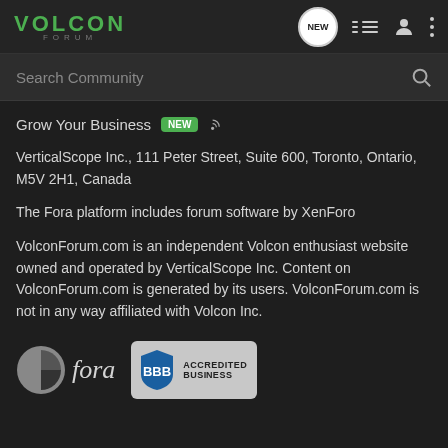VOLCON FORUM
Search Community
Grow Your Business NEW
VerticalScope Inc., 111 Peter Street, Suite 600, Toronto, Ontario, M5V 2H1, Canada
The Fora platform includes forum software by XenForo
VolconForum.com is an independent Volcon enthusiast website owned and operated by VerticalScope Inc. Content on VolconForum.com is generated by its users. VolconForum.com is not in any way affiliated with Volcon Inc.
[Figure (logo): Fora logo with icon and italic text 'fora']
[Figure (logo): BBB Accredited Business badge]